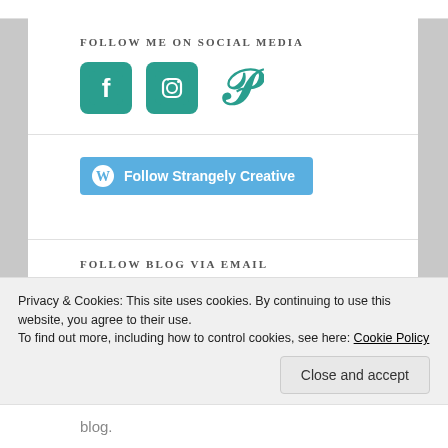FOLLOW ME ON SOCIAL MEDIA
[Figure (illustration): Three social media icons: Facebook (teal rounded square), Instagram (teal rounded square), Pinterest (teal P logo)]
[Figure (illustration): WordPress Follow button: blue pill-shaped button with WordPress logo and text 'Follow Strangely Creative']
FOLLOW BLOG VIA EMAIL
Enter your email address to follow this blog and receive notifications of new posts by email. By commenting you
Privacy & Cookies: This site uses cookies. By continuing to use this website, you agree to their use.
To find out more, including how to control cookies, see here: Cookie Policy
blog.